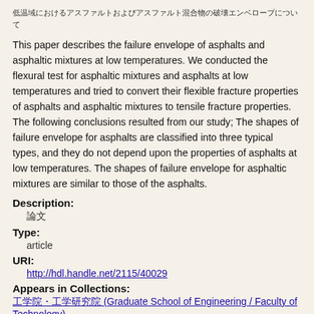低温域におけるアスファルトおよびアスファルト混合物の破壊エンベロープについて
This paper describes the failure envelope of asphalts and asphaltic mixtures at low temperatures. We conducted the flexural test for asphaltic mixtures and asphalts at low temperatures and tried to convert their flexible fracture properties of asphalts and asphaltic mixtures to tensile fracture properties. The following conclusions resulted from our study; The shapes of failure envelope for asphalts are classified into three typical types, and they do not depend upon the properties of asphalts at low temperatures. The shapes of failure envelope for asphaltic mixtures are similar to those of the asphalts.
Description:
論文
Type:
article
URI:
http://hdl.handle.net/2115/40029
Appears in Collections:
工学院・工学研究院 (Graduate School of Engineering / Faculty of Technology)